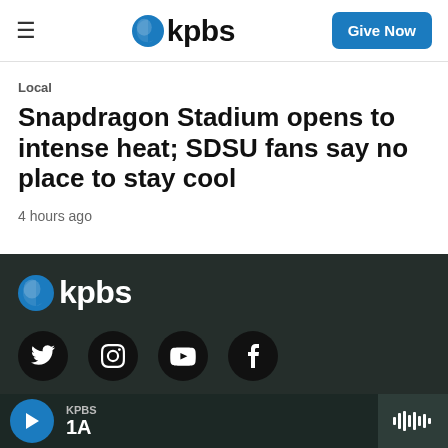kpbs | Give Now
Local
Snapdragon Stadium opens to intense heat; SDSU fans say no place to stay cool
4 hours ago
[Figure (logo): KPBS logo in white on dark footer background]
[Figure (infographic): Social media icons: Twitter, Instagram, YouTube, Facebook in black circles]
KPBS 1A radio player bar with play button and waveform icon